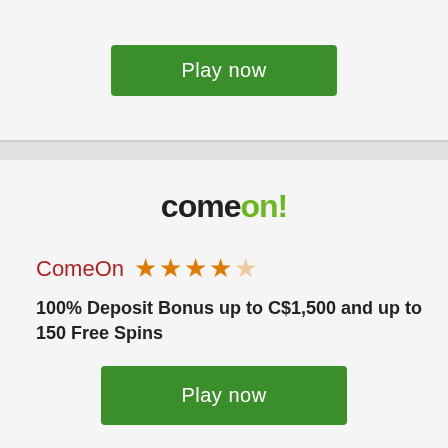[Figure (other): Green 'Play now' button at top of page]
[Figure (logo): ComeOn! casino logo in black and green]
ComeOn ★★★★☆
100% Deposit Bonus up to C$1,500 and up to 150 Free Spins
[Figure (other): Green 'Play now' button at bottom of page]